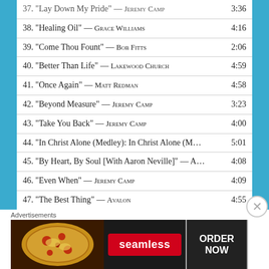37. "Lay Down My Pride" — JEREMY CAMP  3:36
38. "Healing Oil" — GRACE WILLIAMS  4:16
39. "Come Thou Fount" — BOB FITTS  2:06
40. "Better Than Life" — LAKEWOOD CHURCH  4:59
41. "Once Again" — MATT REDMAN  4:58
42. "Beyond Measure" — JEREMY CAMP  3:23
43. "Take You Back" — JEREMY CAMP  4:00
44. "In Christ Alone (Medley): In Christ Alone (M...  5:01
45. "By Heart, By Soul [With Aaron Neville]" — A...  4:08
46. "Even When" — JEREMY CAMP  4:09
47. "The Best Thing" — AVALON  4:55
48. "Oxygen" — AVALON  4:53
49. "Fields of Grace" — DARRELL EVANS  4:39
50. "Here I Am to Worship" — JONATHON NOEL  4:41
51. "What It Means" — JEREMY CAMP  3:38
52. "Atmosphere of Heaven" — GRACE WILLIAMS  5:19
Advertisements
[Figure (other): Seamless food delivery advertisement banner with pizza image, Seamless logo, and ORDER NOW button]